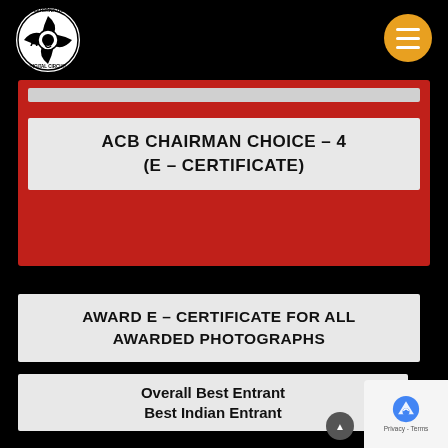[Figure (logo): ACB International Digital Circuit circular logo in black and white]
[Figure (illustration): Orange circular hamburger menu button with three white horizontal lines]
ACB CHAIRMAN CHOICE – 4
(E – CERTIFICATE)
AWARD E – CERTIFICATE FOR ALL AWARDED PHOTOGRAPHS
Overall Best Entrant
Best Indian Entrant